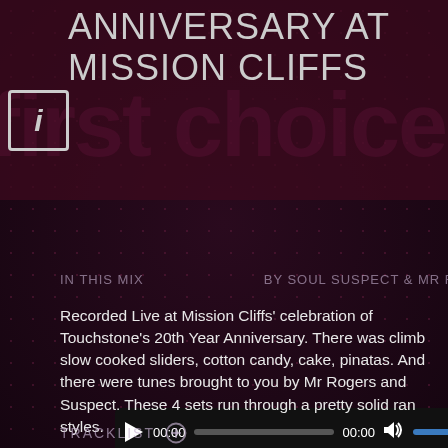ANNIVERSARY AT MISSION CLIFFS
[Figure (screenshot): Audio player widget with play button, time display 00:00, progress bar, end time 00:00, volume icon, and volume slider]
IN THIS MIX
BY SOUL SUSPECT & MR ROG
Recorded Live at Mission Cliffs' celebration of Touchstone's 20th Year Anniversary. There was climb slow cooked sliders, cotton candy, cake, pinatas. And there were tunes brought to you by Mr Rogers and Suspect. These 4 sets run through a pretty solid ran styles.
This one has little focus. From rock to old R&B to dee funk and back. It's got it all.
TRACKLIST